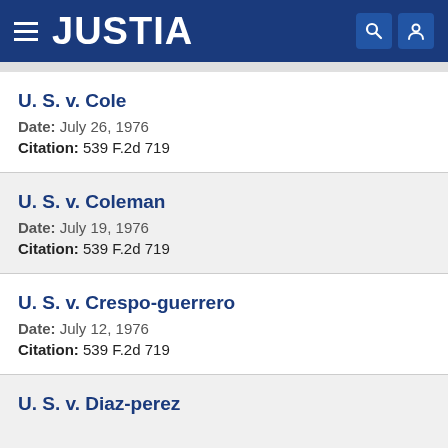JUSTIA
U. S. v. Cole
Date: July 26, 1976
Citation: 539 F.2d 719
U. S. v. Coleman
Date: July 19, 1976
Citation: 539 F.2d 719
U. S. v. Crespo-guerrero
Date: July 12, 1976
Citation: 539 F.2d 719
U. S. v. Diaz-perez